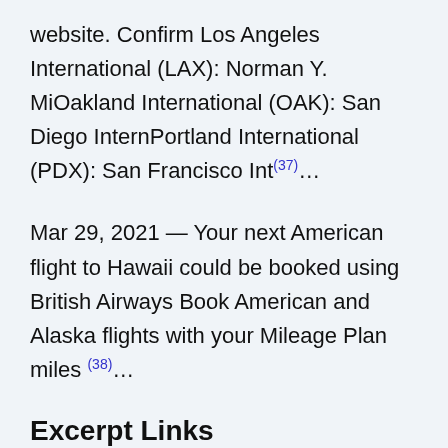website. Confirm Los Angeles International (LAX): Norman Y. MiOakland International (OAK): San Diego InternPortland International (PDX): San Francisco Int(37)...
Mar 29, 2021 — Your next American flight to Hawaii could be booked using British Airways Book American and Alaska flights with your Mileage Plan miles (38)...
Excerpt Links